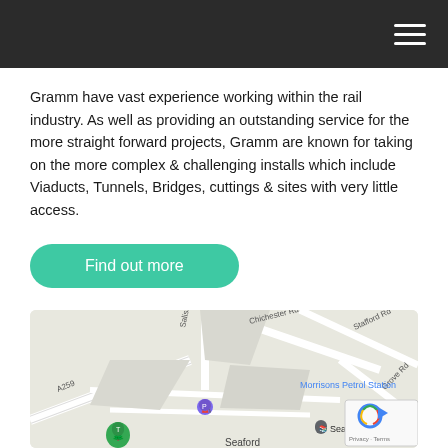Gramm have vast experience working within the rail industry. As well as providing an outstanding service for the more straight forward projects, Gramm are known for taking on the more complex & challenging installs which include Viaducts, Tunnels, Bridges, cuttings & sites with very little access.
Find out more
Location
[Figure (map): Google Maps showing location near Seaford, UK. Shows A259 road, Salisbury road, Chichester Rd, Stafford Rd, Grove Rd, Morrisons Petrol Station, Seaford Library markers, and the text Seaford.]